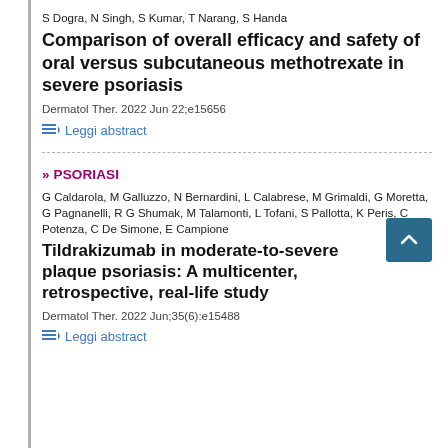S Dogra, N Singh, S Kumar, T Narang, S Handa
Comparison of overall efficacy and safety of oral versus subcutaneous methotrexate in severe psoriasis
Dermatol Ther. 2022 Jun 22;e15656
Leggi abstract
» PSORIASI
G Caldarola, M Galluzzo, N Bernardini, L Calabrese, M Grimaldi, G Moretta, G Pagnanelli, R G Shumak, M Talamonti, L Tofani, S Pallotta, K Peris, C Potenza, C De Simone, E Campione
Tildrakizumab in moderate-to-severe plaque psoriasis: A multicenter, retrospective, real-life study
Dermatol Ther. 2022 Jun;35(6):e15488
Leggi abstract